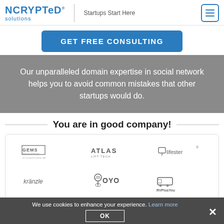NCRYPTeD solutions® — Startups Start Here
GET FREE CONSULTING
Our unparalleled domain expertise in social network helps you to avoid common mistakes that other startups would do.
You are in good company!
[Figure (logo): Grid of client logos: GEMS Education, ATLAS LIFT TECH, lifester, kränzle, OYO, RVPlusYou, (G logo), SOLVAY, Ford]
We use cookies to enhance your experience. Learn more  OK  ✕